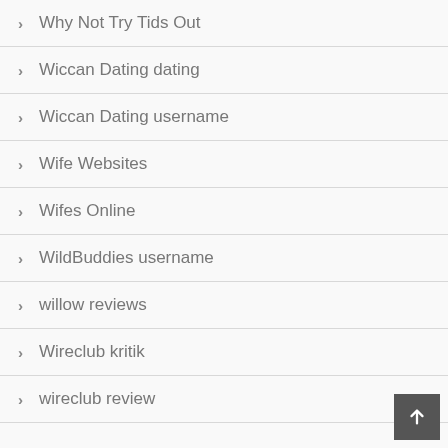Why Not Try Tids Out
Wiccan Dating dating
Wiccan Dating username
Wife Websites
Wifes Online
WildBuddies username
willow reviews
Wireclub kritik
wireclub review